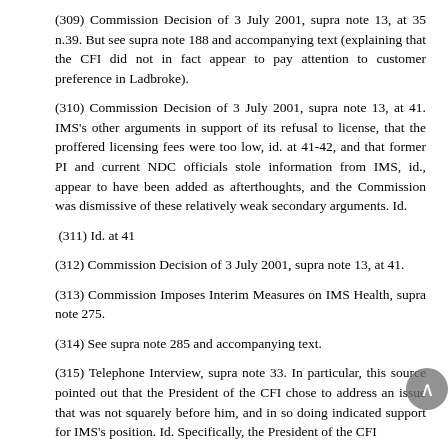(309) Commission Decision of 3 July 2001, supra note 13, at 35 n.39. But see supra note 188 and accompanying text (explaining that the CFI did not in fact appear to pay attention to customer preference in Ladbroke).
(310) Commission Decision of 3 July 2001, supra note 13, at 41. IMS's other arguments in support of its refusal to license, that the proffered licensing fees were too low, id. at 41-42, and that former PI and current NDC officials stole information from IMS, id., appear to have been added as afterthoughts, and the Commission was dismissive of these relatively weak secondary arguments. Id.
(311) Id. at 41
(312) Commission Decision of 3 July 2001, supra note 13, at 41.
(313) Commission Imposes Interim Measures on IMS Health, supra note 275.
(314) See supra note 285 and accompanying text.
(315) Telephone Interview, supra note 33. In particular, this source pointed out that the President of the CFI chose to address an issue that was not squarely before him, and in so doing indicated support for IMS's position. Id. Specifically, the President of the CFI